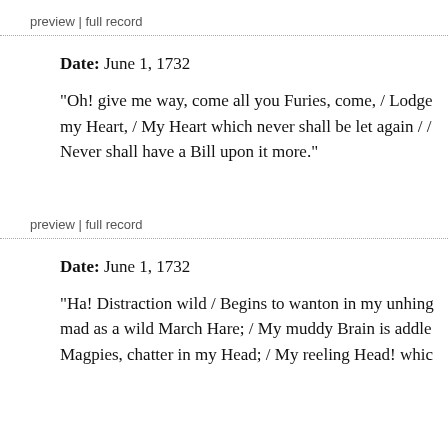preview | full record
Date: June 1, 1732
"Oh! give me way, come all you Furies, come, / Lodge my Heart, / My Heart which never shall be let again / / Never shall have a Bill upon it more."
preview | full record
Date: June 1, 1732
"Ha! Distraction wild / Begins to wanton in my unhing mad as a wild March Hare; / My muddy Brain is addle Magpies, chatter in my Head; / My reeling Head! whic"